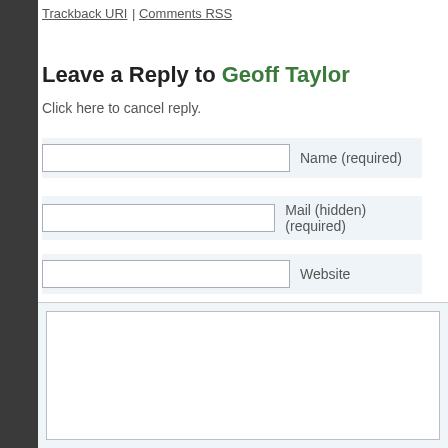Trackback URI | Comments RSS
Leave a Reply to Geoff Taylor
Click here to cancel reply.
Name (required)
Mail (hidden) (required)
Website